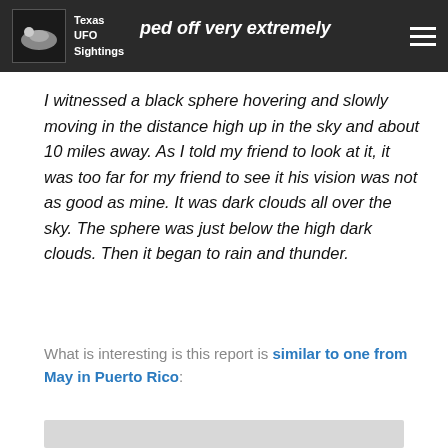Texas UFO Sightings — ped off very extremely
I witnessed a black sphere hovering and slowly moving in the distance high up in the sky and about 10 miles away. As I told my friend to look at it, it was too far for my friend to see it his vision was not as good as mine. It was dark clouds all over the sky. The sphere was just below the high dark clouds. Then it began to rain and thunder.
What is interesting is this report is similar to one from May in Puerto Rico:
[Figure (photo): Partial view of a light grey image preview at bottom of page]